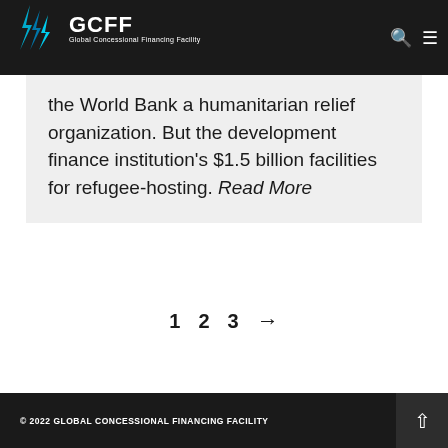GCFF Global Concessional Financing Facility
the World Bank a humanitarian relief organization. But the development finance institution's $1.5 billion facilities for refugee-hosting. Read More
1  2  3  →
© 2022 GLOBAL CONCESSIONAL FINANCING FACILITY